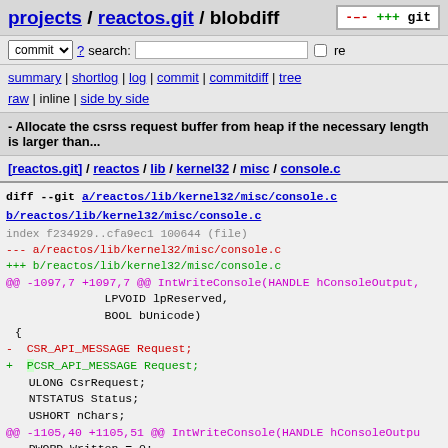projects / reactos.git / blobdiff
commit ? search: re
summary | shortlog | log | commit | commitdiff | tree
raw | inline | side by side
- Allocate the csrss request buffer from heap if the necessary length is larger than...
[reactos.git] / reactos / lib / kernel32 / misc / console.c
diff --git a/reactos/lib/kernel32/misc/console.c b/reactos/lib/kernel32/misc/console.c
index f234929..cfa9ec1 100644 (file)
--- a/reactos/lib/kernel32/misc/console.c
+++ b/reactos/lib/kernel32/misc/console.c
@@ -1097,7 +1097,7 @@ IntWriteConsole(HANDLE hConsoleOutput,
                    LPVOID lpReserved,
                    BOOL bUnicode)
 {
-  CSR_API_MESSAGE Request;
+  PCSR_API_MESSAGE Request;
    ULONG CsrRequest;
    NTSTATUS Status;
    USHORT nChars;
@@ -1105,40 +1105,51 @@ IntWriteConsole(HANDLE hConsoleOutpu
    DWORD Written = 0;